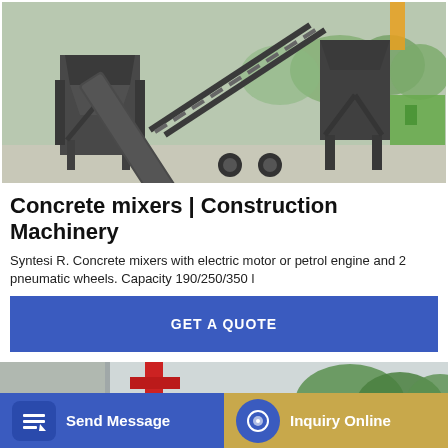[Figure (photo): Outdoor photo of large industrial concrete batching plant machinery with steel frame hoppers and conveyor belt, set on a concrete yard with trees and a green building in the background.]
Concrete mixers | Construction Machinery
Syntesi R. Concrete mixers with electric motor or petrol engine and 2 pneumatic wheels. Capacity 190/250/350 l
GET A QUOTE
[Figure (photo): Partially visible photo of a yellow concrete mixer truck with red crane arm, parked outdoors near trees and a building.]
Send Message
Inquiry Online